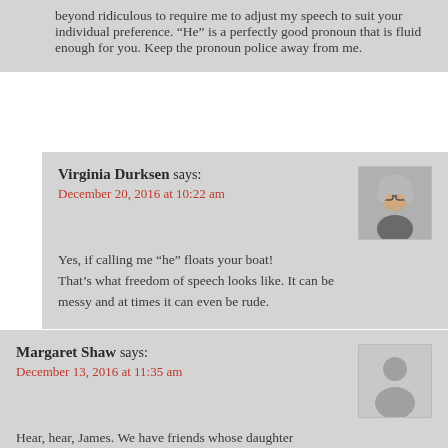beyond ridiculous to require me to adjust my speech to suit your individual preference. “He” is a perfectly good pronoun that is fluid enough for you. Keep the pronoun police away from me.
Virginia Durksen says:
December 20, 2016 at 10:22 am

Yes, if calling me “he” floats your boat! That’s what freedom of speech looks like. It can be messy and at times it can even be rude.
Margaret Shaw says:
December 13, 2016 at 11:35 am

Hear, hear, James. We have friends whose daughter used to be a son, and she takes great offence – as she should –